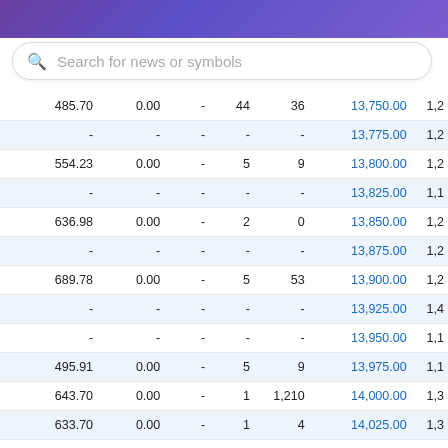Search for news or symbols
|  |  | - |  |  | Strike |  |
| --- | --- | --- | --- | --- | --- | --- |
| 485.70 | 0.00 | - | 44 | 36 | 13,750.00 | 1,2 |
| - | - | - | - | - | 13,775.00 | 1,2 |
| 554.23 | 0.00 | - | 5 | 9 | 13,800.00 | 1,2 |
| - | - | - | - | - | 13,825.00 | 1,1 |
| 636.98 | 0.00 | - | 2 | 0 | 13,850.00 | 1,2 |
| - | - | - | - | - | 13,875.00 | 1,2 |
| 689.78 | 0.00 | - | 5 | 53 | 13,900.00 | 1,2 |
| - | - | - | - | - | 13,925.00 | 1,4 |
| - | - | - | - | - | 13,950.00 | 1,1 |
| 495.91 | 0.00 | - | 5 | 9 | 13,975.00 | 1,1 |
| 643.70 | 0.00 | - | 1 | 1,210 | 14,000.00 | 1,3 |
| 633.70 | 0.00 | - | 1 | 4 | 14,025.00 | 1,3 |